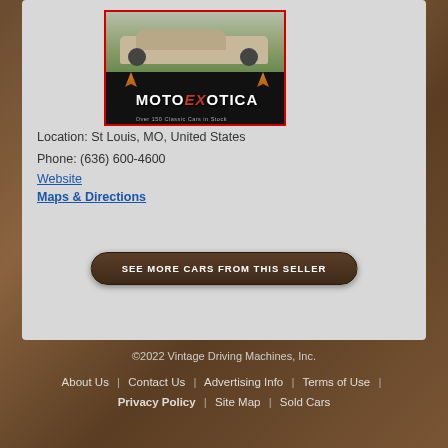[Figure (photo): Dealer image showing a classic Mini car photo on top and MotoExotica dealer logo on bottom with text 'Over 150 Classic Cars in Stock']
Location: St Louis, MO, United States
Phone: (636) 600-4600
Website
Maps & Directions
SEE MORE CARS FROM THIS SELLER
©2022 Vintage Driving Machines, Inc.
About Us | Contact Us | Advertising Info | Terms of Use | Privacy Policy | Site Map | Sold Cars